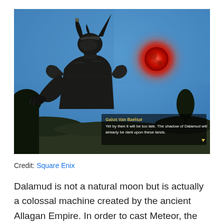[Figure (screenshot): Video game screenshot from Final Fantasy XIV showing an armored character with horned helmet looking up at a large glowing red moon (Dalamud) in a blue sky. A dialogue box at the bottom shows text attributed to 'Gaius Van Baelsar': 'Yet by then it will be too late. The shadow of Dalamud will already be dark upon these lands.']
Credit: Square Enix
Dalamud is not a natural moon but is actually a colossal machine created by the ancient Allagan Empire. In order to cast Meteor, the Empire needed to collect and